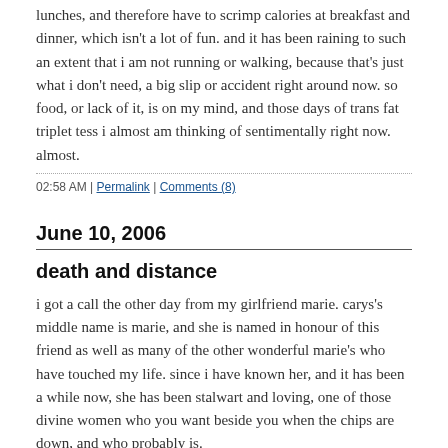lunches, and therefore have to scrimp calories at breakfast and dinner, which isn't a lot of fun. and it has been raining to such an extent that i am not running or walking, because that's just what i don't need, a big slip or accident right around now. so food, or lack of it, is on my mind, and those days of trans fat triplet tess i almost am thinking of sentimentally right now. almost.
02:58 AM | Permalink | Comments (8)
June 10, 2006
death and distance
i got a call the other day from my girlfriend marie. carys's middle name is marie, and she is named in honour of this friend as well as many of the other wonderful marie's who have touched my life. since i have known her, and it has been a while now, she has been stalwart and loving, one of those divine women who you want beside you when the chips are down, and who probably is.
she left a message. her father was dying. soon.
by the time i called her, her father had passed away.